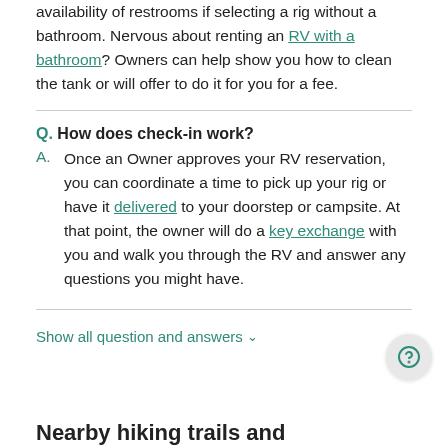availability of restrooms if selecting a rig without a bathroom. Nervous about renting an RV with a bathroom? Owners can help show you how to clean the tank or will offer to do it for you for a fee.
Q. How does check-in work?
A. Once an Owner approves your RV reservation, you can coordinate a time to pick up your rig or have it delivered to your doorstep or campsite. At that point, the owner will do a key exchange with you and walk you through the RV and answer any questions you might have.
Show all question and answers ˅
Nearby hiking trails and